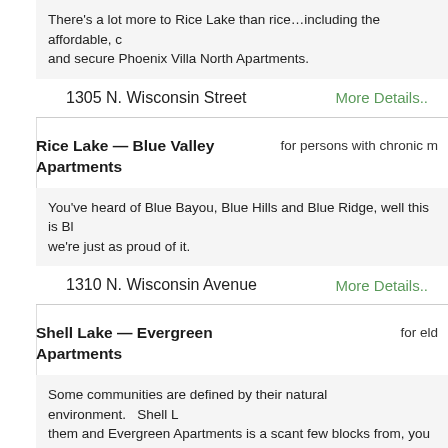There's a lot more to Rice Lake than rice…including the affordable, c and secure Phoenix Villa North Apartments.
1305 N. Wisconsin Street
More Details..
Rice Lake — Blue Valley Apartments
for persons with chronic m
You've heard of Blue Bayou, Blue Hills and Blue Ridge, well this is Bl we're just as proud of it.
1310 N. Wisconsin Avenue
More Details..
Shell Lake — Evergreen Apartments
for eld
Some communities are defined by their natural environment.   Shell L them and Evergreen Apartments is a scant few blocks from, you gues